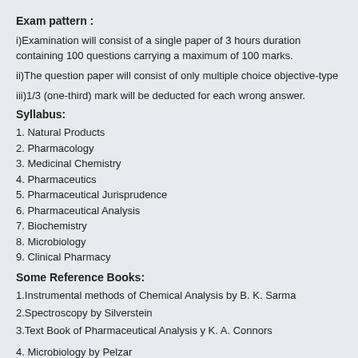Exam pattern :
i)Examination will consist of a single paper of 3 hours duration containing 100 questions carrying a maximum of 100 marks.
ii)The question paper will consist of only multiple choice objective-type
iii)1/3 (one-third) mark will be deducted for each wrong answer.
Syllabus:
1.  Natural Products
2.  Pharmacology
3.  Medicinal Chemistry
4.  Pharmaceutics
5.  Pharmaceutical Jurisprudence
6.  Pharmaceutical Analysis
7.  Biochemistry
8.  Microbiology
9.  Clinical Pharmacy
Some Reference Books:
1.Instrumental methods of Chemical Analysis by B. K. Sarma
2.Spectroscopy by Silverstein
3.Text Book of Pharmaceutical Analysis y K. A. Connors
4. Microbiology by Pelzar
5. Industrial microbiology by Casside